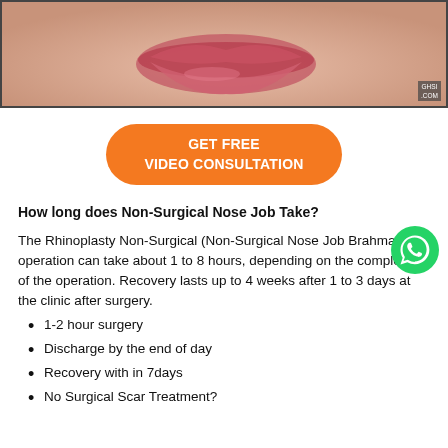[Figure (photo): Close-up photo of lips/lower face, pinkish-skin tone background with GHSI.COM watermark]
[Figure (other): Orange rounded button with text GET FREE VIDEO CONSULTATION]
How long does Non-Surgical Nose Job Take?
The Rhinoplasty Non-Surgical (Non-Surgical Nose Job Brahmapur) operation can take about 1 to 8 hours, depending on the complexity of the operation. Recovery lasts up to 4 weeks after 1 to 3 days at the clinic after surgery.
1-2 hour surgery
Discharge by the end of day
Recovery with in 7days
No Surgical Scar Treatment?